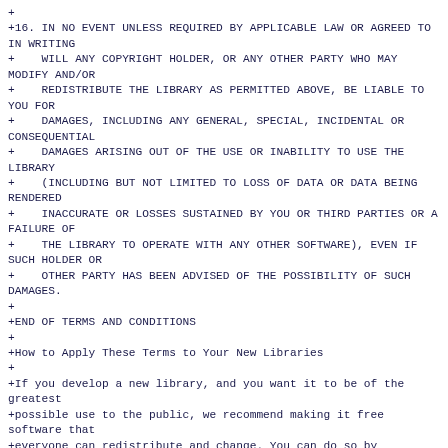+
+16. IN NO EVENT UNLESS REQUIRED BY APPLICABLE LAW OR AGREED TO IN WRITING
+    WILL ANY COPYRIGHT HOLDER, OR ANY OTHER PARTY WHO MAY MODIFY AND/OR
+    REDISTRIBUTE THE LIBRARY AS PERMITTED ABOVE, BE LIABLE TO YOU FOR
+    DAMAGES, INCLUDING ANY GENERAL, SPECIAL, INCIDENTAL OR CONSEQUENTIAL
+    DAMAGES ARISING OUT OF THE USE OR INABILITY TO USE THE LIBRARY
+    (INCLUDING BUT NOT LIMITED TO LOSS OF DATA OR DATA BEING RENDERED
+    INACCURATE OR LOSSES SUSTAINED BY YOU OR THIRD PARTIES OR A FAILURE OF
+    THE LIBRARY TO OPERATE WITH ANY OTHER SOFTWARE), EVEN IF SUCH HOLDER OR
+    OTHER PARTY HAS BEEN ADVISED OF THE POSSIBILITY OF SUCH DAMAGES.
+
+END OF TERMS AND CONDITIONS
+
+How to Apply These Terms to Your New Libraries
+
+If you develop a new library, and you want it to be of the greatest
+possible use to the public, we recommend making it free software that
+everyone can redistribute and change. You can do so by permitting